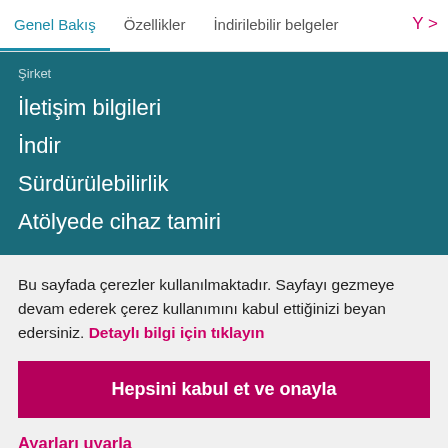Genel Bakış  Özellikler  İndirilebilir belgeler  Y >
Şirket
İletişim bilgileri
İndir
Sürdürülebilirlik
Atölyede cihaz tamiri
Bu sayfada çerezler kullanılmaktadır. Sayfayı gezmeye devam ederek çerez kullanımını kabul ettiğinizi beyan edersiniz. Detaylı bilgi için tıklayın
Hepsini kabul et ve onayla
Ayarları uyarla